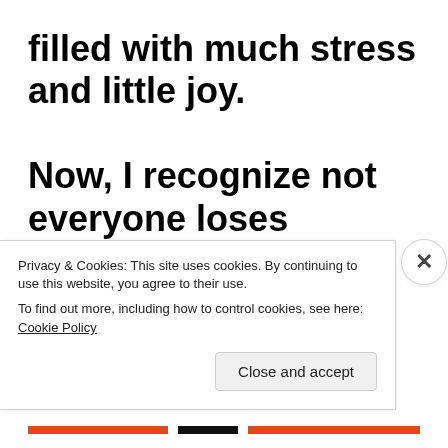filled with much stress and little joy.

Now, I recognize not everyone loses

that awe and wonder. For the most

part though, this “truth” becomes a

heavy weight for so many of us. In
Privacy & Cookies: This site uses cookies. By continuing to use this website, you agree to their use.
To find out more, including how to control cookies, see here: Cookie Policy
Close and accept